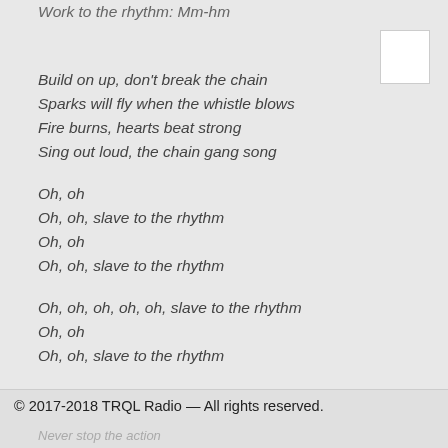Work to the rhythm: Mm-hm
Build on up, don't break the chain
Sparks will fly when the whistle blows
Fire burns, hearts beat strong
Sing out loud, the chain gang song
Oh, oh
Oh, oh, slave to the rhythm
Oh, oh
Oh, oh, slave to the rhythm
Oh, oh, oh, oh, oh, slave to the rhythm
Oh, oh
Oh, oh, slave to the rhythm
Never stop the action
© 2017-2018 TRQL Radio — All rights reserved.
Never stop the action